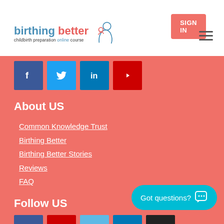SIGN IN
[Figure (logo): Birthing Better logo with stylized mother and baby icon, text: birthing better, childbirth preparation online course]
[Figure (infographic): Social media icons row: Facebook, Twitter, LinkedIn, YouTube]
About US
Common Knowledge Trust
Birthing Better
Birthing Better Stories
Reviews
FAQ
Follow US
[Figure (infographic): Social media icons row: Facebook, YouTube, Twitter, LinkedIn, Instagram]
Got questions?